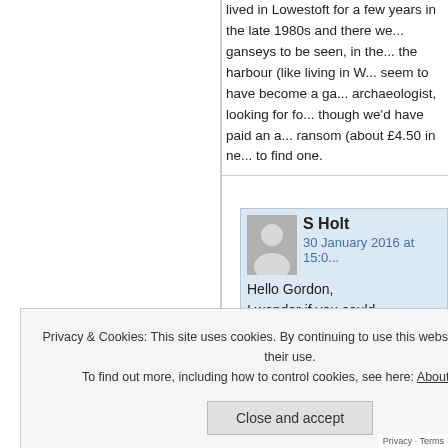lived in Lowestoft for a few years in the late 1980s and there were still ganseys to be seen, in the area near the harbour (like living in W...) seem to have become a ga... archaeologist, looking for fo... though we'd have paid an a... ransom (about £4.50 in new... to find one.
S Holt
30 January 2016 at 15:0...
Hello Gordon,
I wonder if you could...
Privacy & Cookies: This site uses cookies. By continuing to use this website, you agree to their use.
To find out more, including how to control cookies, see here: About Cookies
Close and accept
...Gordon and the Scot... plan patterns with a loca navou... thing exists after reading you...